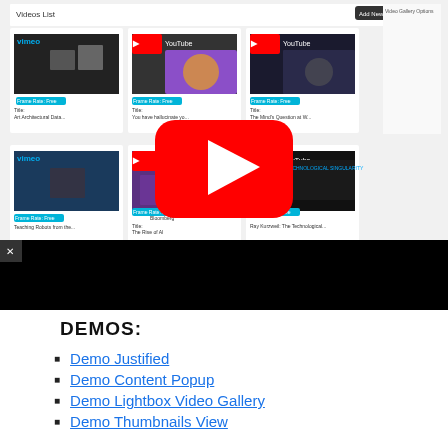[Figure (screenshot): Screenshot of a video gallery admin interface showing a 'Videos List' panel with multiple video thumbnails from YouTube and Vimeo, with a large YouTube play button overlay in the center. Below is a black video player area.]
DEMOS:
Demo Justified
Demo Content Popup
Demo Lightbox Video Gallery
Demo Thumbnails View